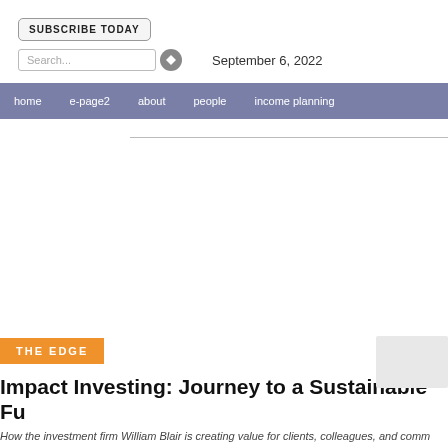SUBSCRIBE TODAY
Search...   September 6, 2022
home  e-page2  about  people  income planning
THE EDGE
Impact Investing: Journey to a Sustainable Fu
How the investment firm William Blair is creating value for clients, colleagues, and comm